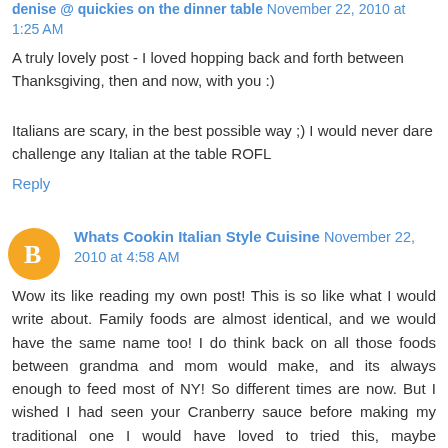denise @ quickies on the dinner table November 22, 2010 at 1:25 AM
A truly lovely post - I loved hopping back and forth between Thanksgiving, then and now, with you :)
Italians are scary, in the best possible way ;) I would never dare challenge any Italian at the table ROFL
Reply
Whats Cookin Italian Style Cuisine November 22, 2010 at 4:58 AM
Wow its like reading my own post! This is so like what I would write about. Family foods are almost identical, and we would have the same name too! I do think back on all those foods between grandma and mom would make, and its always enough to feed most of NY! So different times are now. But I wished I had seen your Cranberry sauce before making my traditional one I would have loved to tried this, maybe Christmas. This sounds amazing. I make mine with Amaretto, posting soon. I just love your Clementine Turkey last year, and your pumpkin pie is outstanding! I